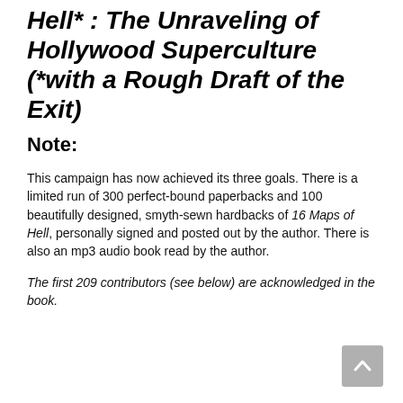Hell* : The Unraveling of Hollywood Superculture (*with a Rough Draft of the Exit)
Note:
This campaign has now achieved its three goals. There is a limited run of 300 perfect-bound paperbacks and 100 beautifully designed, smyth-sewn hardbacks of 16 Maps of Hell, personally signed and posted out by the author. There is also an mp3 audio book read by the author.
The first 209 contributors (see below) are acknowledged in the book.